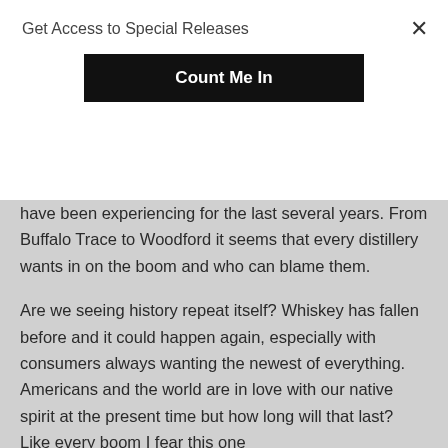Get Access to Special Releases
Count Me In
have been experiencing for the last several years. From Buffalo Trace to Woodford it seems that every distillery wants in on the boom and who can blame them.
Are we seeing history repeat itself? Whiskey has fallen before and it could happen again, especially with consumers always wanting the newest of everything. Americans and the world are in love with our native spirit at the present time but how long will that last? Like every boom I fear this one